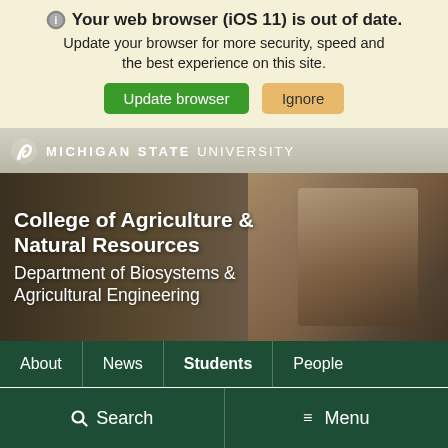Your web browser (iOS 11) is out of date. Update your browser for more security, speed and the best experience on this site. [Update browser] [Ignore]
[Figure (screenshot): Michigan State University website header with MSU Spartan logo and text 'MICHIGAN STATE UNIVERSITY']
College of Agriculture & Natural Resources
Department of Biosystems & Agricultural Engineering
About | News | Students | People
🏠 / Students /
🔍 Search   ☰ Menu